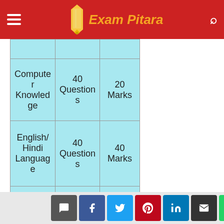Exam Pitara
| Subject | Questions | Marks |
| --- | --- | --- |
| Computer Knowledge | 40 Questions | 20 Marks |
| English/Hindi Language | 40 Questions | 40 Marks |
| Total | 200 Questions | 200 Marks |
Social share icons and next arrow